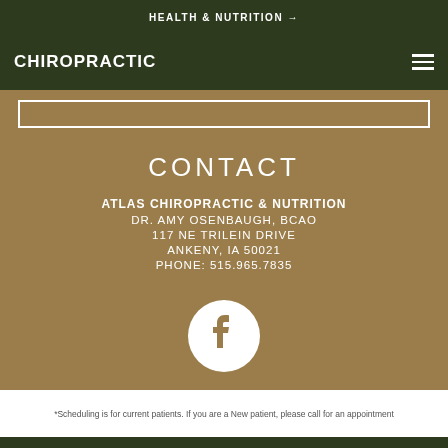HEALTH & NUTRITION →
CHIROPRACTIC
CONTACT
ATLAS CHIROPRACTIC & NUTRITION
DR. AMY OSENBAUGH, BCAO
117 NE TRILEIN DRIVE
ANKENY, IA 50021
PHONE: 515.965.7835
[Figure (logo): Facebook icon: white circle with Facebook 'f' logo in tan/brown color]
*Scheduling is for current patients. If you are a New patient, please call for an appointment
©2020 Atlas Chiropractic & Nutrition
Website Design by EDJE